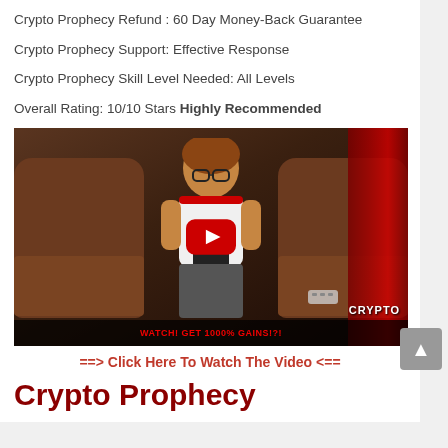Crypto Prophecy Refund : 60 Day Money-Back Guarantee
Crypto Prophecy Support: Effective Response
Crypto Prophecy Skill Level Needed: All Levels
Overall Rating: 10/10 Stars Highly Recommended
[Figure (screenshot): YouTube-style video thumbnail showing a woman sitting in a brown leather chair holding a phone, with red curtain in background and a YouTube play button overlay. Bottom bar reads WATCH! GET 1000% GAINS!?! and watermark says CRYPTO in lower right.]
==> Click Here To Watch The Video <==
Crypto Prophecy